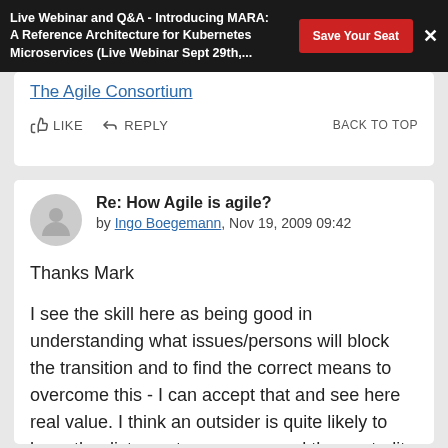Live Webinar and Q&A - Introducing MARA: A Reference Architecture for Kubernetes Microservices (Live Webinar Sept 29th,...
The Agile Consortium
LIKE   REPLY   BACK TO TOP
Re: How Agile is agile?
by Ingo Boegemann, Nov 19, 2009 09:42
Thanks Mark
I see the skill here as being good in understanding what issues/persons will block the transition and to find the correct means to overcome this - I can accept that and see here real value. I think an outsider is quite likely to have the distance to see more and the neutrality to change more than any inside resource could.